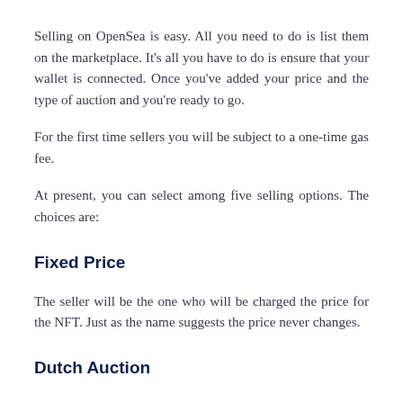Selling on OpenSea is easy. All you need to do is list them on the marketplace. It's all you have to do is ensure that your wallet is connected. Once you've added your price and the type of auction and you're ready to go.
For the first time sellers you will be subject to a one-time gas fee.
At present, you can select among five selling options. The choices are:
Fixed Price
The seller will be the one who will be charged the price for the NFT. Just as the name suggests the price never changes.
Dutch Auction